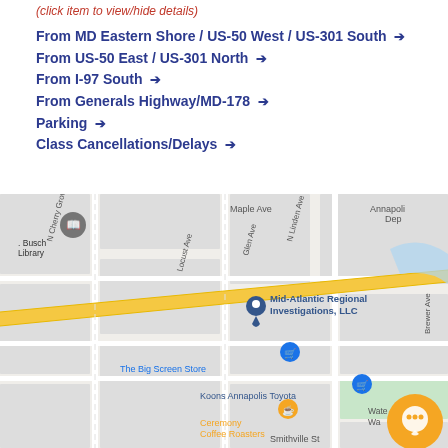(click item to view/hide details)
From MD Eastern Shore / US-50 West / US-301 South →
From US-50 East / US-301 North →
From I-97 South →
From Generals Highway/MD-178 →
Parking →
Class Cancellations/Delays →
[Figure (map): Google Maps view showing the area around Mid-Atlantic Regional Investigations, LLC in Annapolis, MD. Visible landmarks include Busch Library, The Big Screen Store, Koons Annapolis Toyota, Ceremony Coffee Roasters. Streets visible: Maple Ave, N Cherry Grove Ave, Glen Ave, N Linden Ave, Locust Ave, Brewer Ave, Smithville St. A yellow highway runs diagonally. A chat bubble icon appears in the lower right corner.]